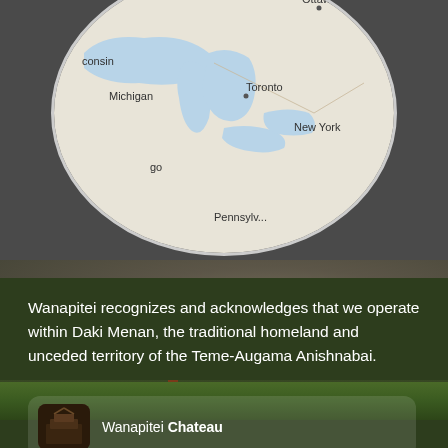[Figure (map): Circular cropped map showing Great Lakes region including Michigan, Toronto, New York, Ottawa, Montreal, Wisconsin, Pennsylvania]
[Figure (photo): Outdoor photo with blurred stone wall background, green grass, and a teal arrow sign on a wooden post reading 'Office & Billing' with a paperclip icon]
Wanapitei recognizes and acknowledges that we operate within Daki Menan, the traditional homeland and unceded territory of the Teme-Augama Anishnabai.
Wanapitei Chateau